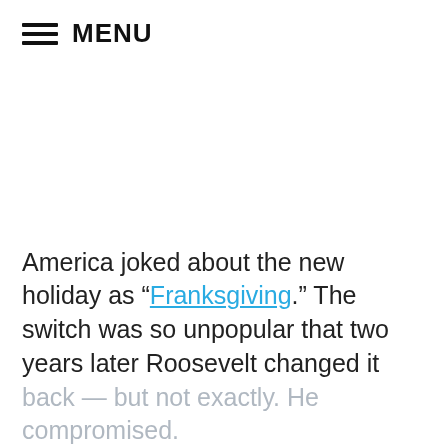MENU
America joked about the new holiday as “Franksgiving.” The switch was so unpopular that two years later Roosevelt changed it back — but not exactly. He compromised.